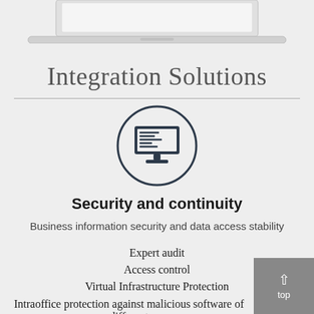[Figure (illustration): Partial laptop computer illustration at top of page, showing bottom portion with keyboard area on grey background]
Integration Solutions
[Figure (illustration): Circular icon with dark border containing a desktop monitor/computer screen showing code or terminal text, dark navy color]
Security and continuity
Business information security and data access stability
Expert audit
Access control
Virtual Infrastructure Protection
Intraoffice protection against malicious software of different